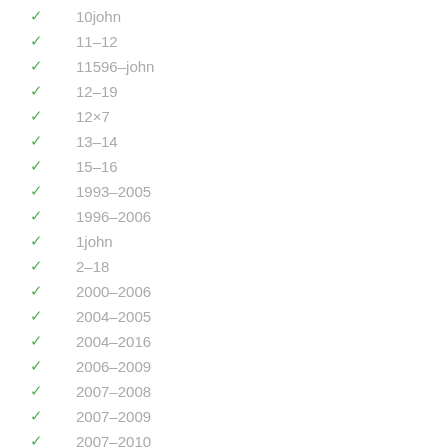10john
11–12
11596–john
12–19
12×7
13–14
15–16
1993–2005
1996–2006
1john
2–18
2000–2006
2004–2005
2004–2016
2006–2009
2007–2008
2007–2009
2007–2010